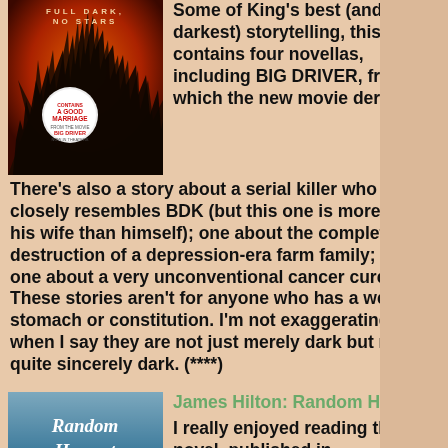[Figure (photo): Book cover of Stephen King's 'Full Dark, No Stars' showing dark tree branches against an orange/red sky with a circular badge]
Some of King's best (and darkest) storytelling, this book contains four novellas, including BIG DRIVER, from which the new movie derives. There's also a story about a serial killer who closely resembles BDK (but this one is more about his wife than himself); one about the complete destruction of a depression-era farm family; and one about a very unconventional cancer cure. These stories aren't for anyone who has a weak stomach or constitution. I'm not exaggerating when I say they are not just merely dark but really quite sincerely dark. (****)
[Figure (photo): Book cover of James Hilton's 'Random Harvest' in blue/teal tones with italic script title]
James Hilton: Random Harvest
I really enjoyed reading this novel, published in